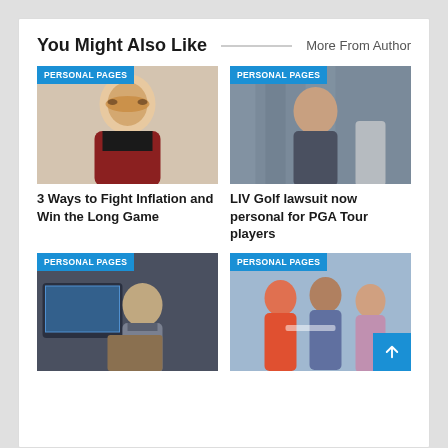You Might Also Like
More From Author
[Figure (photo): Woman with glasses and red jacket smiling, PERSONAL PAGES badge]
3 Ways to Fight Inflation and Win the Long Game
[Figure (photo): Man sitting at table in what appears to be a court or formal setting, PERSONAL PAGES badge]
LIV Golf lawsuit now personal for PGA Tour players
[Figure (photo): Man working on laptop with screens in background, PERSONAL PAGES badge]
[Figure (photo): Group of people playing sports/tennis shaking hands, PERSONAL PAGES badge]